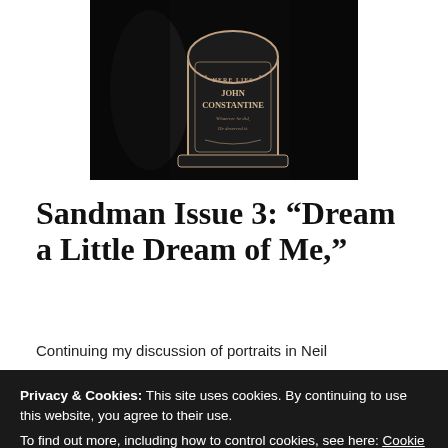[Figure (illustration): Dark illustration of a gravestone reading 'HERE LIES JOHN CONSTANTINE' with some text below. Dark atmospheric background with figure silhouette.]
Sandman Issue 3: “Dream a Little Dream of Me,”
Continuing my discussion of portraits in Neil
Privacy & Cookies: This site uses cookies. By continuing to use this website, you agree to their use.
To find out more, including how to control cookies, see here: Cookie Policy
The accompanying text describes dream: “Her hair…